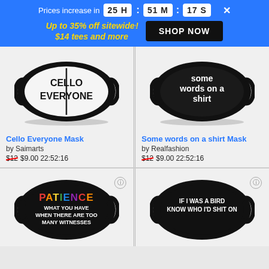Prices increase in 25h : 51m : 17s
Up to 35% off sitewide! $14 tees and more  SHOP NOW
[Figure (illustration): Face mask with text CELLO EVERYONE, white mask with black border]
Cello Everyone Mask
by Saimarts
$12 $9.00 22:52:16
[Figure (illustration): Face mask with text 'some words on a shirt', black mask with white text]
Some words on a shirt Mask
by Realfashion
$12 $9.00 22:52:16
[Figure (illustration): Black face mask with colorful text PATIENCE WHAT YOU HAVE WHEN THERE ARE TOO MANY WITNESSES]
[Figure (illustration): Black face mask with text IF I WAS A BIRD KNOW WHO I'D SHIT ON]